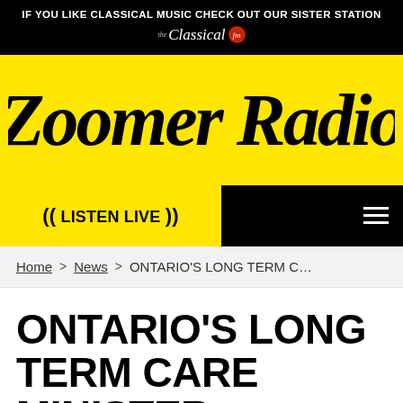IF YOU LIKE CLASSICAL MUSIC CHECK OUT OUR SISTER STATION — Classical fm
[Figure (logo): Zoomer Radio logo on yellow background]
((  LISTEN LIVE  ))
Home > News > ONTARIO&#039;S LONG TERM C…
ONTARIO'S LONG TERM CARE MINISTER SLAMMED FOR